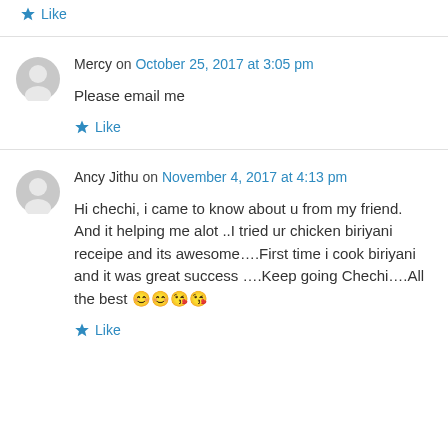Like
Mercy on October 25, 2017 at 3:05 pm
Please email me
Like
Ancy Jithu on November 4, 2017 at 4:13 pm
Hi chechi, i came to know about u from my friend. And it helping me alot ..I tried ur chicken biriyani receipe and its awesome….First time i cook biriyani and it was great success ….Keep going Chechi….All the best 😊😊😘😘
Like